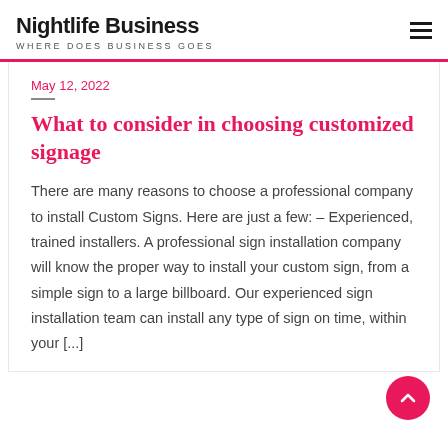Nightlife Business | WHERE DOES BUSINESS GOES
May 12, 2022
What to consider in choosing customized signage
There are many reasons to choose a professional company to install Custom Signs. Here are just a few: – Experienced, trained installers. A professional sign installation company will know the proper way to install your custom sign, from a simple sign to a large billboard. Our experienced sign installation team can install any type of sign on time, within your [...]